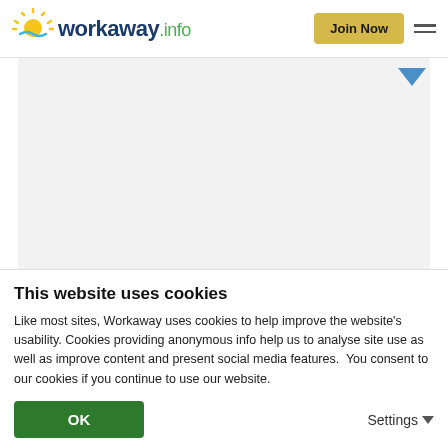[Figure (logo): Workaway.info logo with sun icon in top left of header]
[Figure (other): Join Now button (yellow/gold) and hamburger menu icon in top right of header]
[Figure (other): Gray content area (website screenshot area) with blue dropdown arrow in upper right]
This website uses cookies
Like most sites, Workaway uses cookies to help improve the website's usability. Cookies providing anonymous info help us to analyse site use as well as improve content and present social media features.  You consent to our cookies if you continue to use our website.
[Figure (other): Green OK button and Settings dropdown link at bottom of cookie banner]